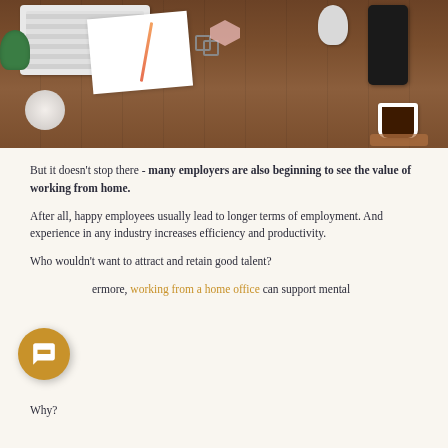[Figure (photo): Overhead flat-lay photo of a wooden desk with keyboard, notebook, pencil, plant, mouse, smartphone, paper clips, hexagonal decoration, marble coaster, and coffee cup on wooden surface]
But it doesn't stop there - many employers are also beginning to see the value of working from home.
After all, happy employees usually lead to longer terms of employment. And experience in any industry increases efficiency and productivity.
Who wouldn't want to attract and retain good talent?
Furthermore, working from a home office can support mental
Why?